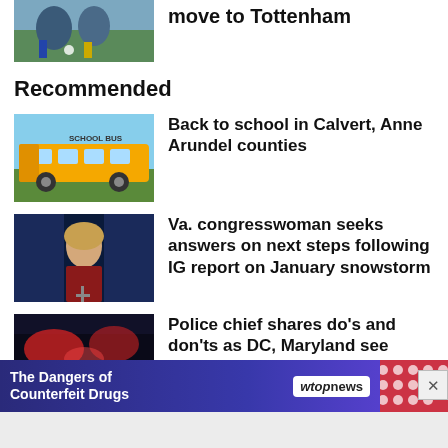move to Tottenham
[Figure (photo): Soccer players on field]
Recommended
[Figure (photo): Yellow school bus]
Back to school in Calvert, Anne Arundel counties
[Figure (photo): Woman at podium, congresswoman]
Va. congresswoman seeks answers on next steps following IG report on January snowstorm
[Figure (photo): Police lights at night]
Police chief shares do's and don'ts as DC, Maryland see increase in carjackings
[Figure (infographic): Ad banner: The Dangers of Counterfeit Drugs - wtop news]